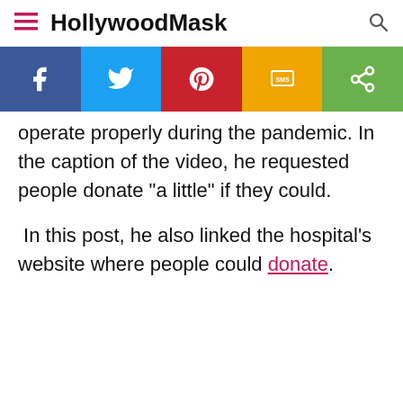HollywoodMask
[Figure (infographic): Social sharing bar with Facebook (blue), Twitter (light blue), Pinterest (red), SMS (yellow/orange), and Share (green) buttons]
operate properly during the pandemic. In the caption of the video, he requested people donate "a little" if they could.
In this post, he also linked the hospital's website where people could donate.